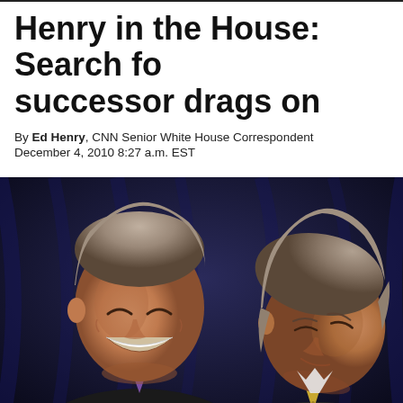Henry in the House: Search for successor drags on
By Ed Henry, CNN Senior White House Correspondent
December 4, 2010 8:27 a.m. EST
[Figure (photo): Two men in suits, one smiling broadly on the left (wearing a purple tie), another on the right with grey hair looking downward (wearing a yellow patterned tie), against a dark blue draped background.]